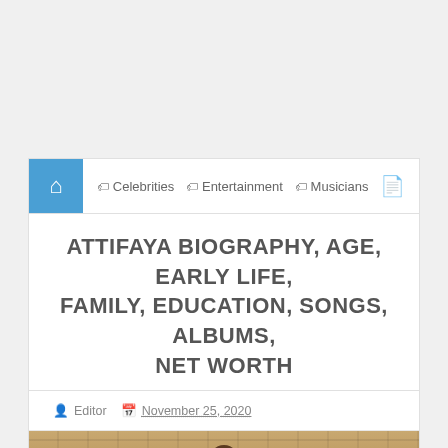Home | Celebrities | Entertainment | Musicians
ATTIFAYA BIOGRAPHY, AGE, EARLY LIFE, FAMILY, EDUCATION, SONGS, ALBUMS, NET WORTH
Editor  November 25, 2020
[Figure (photo): Photo of Attifaya standing in front of a brick wall, wearing a hoodie/head covering]